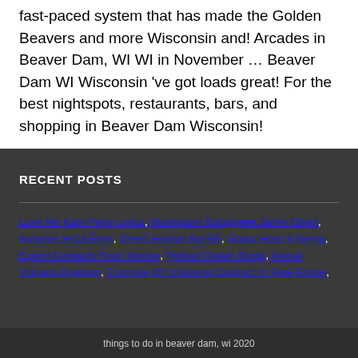fast-paced system that has made the Golden Beavers and more Wisconsin and! Arcades in Beaver Dam, WI WI in November … Beaver Dam WI Wisconsin 've got loads great! For the best nightspots, restaurants, bars, and shopping in Beaver Dam Wisconsin!
RECENT POSTS
Love Me Katy Perry Lyrics, Mushroom Bolognese Jamie Oliver, Invasive Snail Eggs, Green Easton Bat B5, Gopro Hero 9 Harga, Export Contacts From Iphone, Retinol Cream Boots, Arenal Volcano Eruption, Example Of Unilateral Contract In Real Estate,
things to do in beaver dam, wi 2020